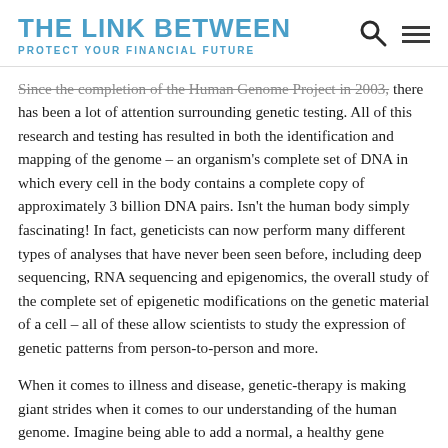THE LINK BETWEEN
PROTECT YOUR FINANCIAL FUTURE
Since the completion of the Human Genome Project in 2003, there has been a lot of attention surrounding genetic testing. All of this research and testing has resulted in both the identification and mapping of the genome – an organism's complete set of DNA in which every cell in the body contains a complete copy of approximately 3 billion DNA pairs. Isn't the human body simply fascinating! In fact, geneticists can now perform many different types of analyses that have never been seen before, including deep sequencing, RNA sequencing and epigenomics, the overall study of the complete set of epigenetic modifications on the genetic material of a cell – all of these allow scientists to study the expression of genetic patterns from person-to-person and more.
When it comes to illness and disease, genetic-therapy is making giant strides when it comes to our understanding of the human genome. Imagine being able to add a normal, a healthy gene